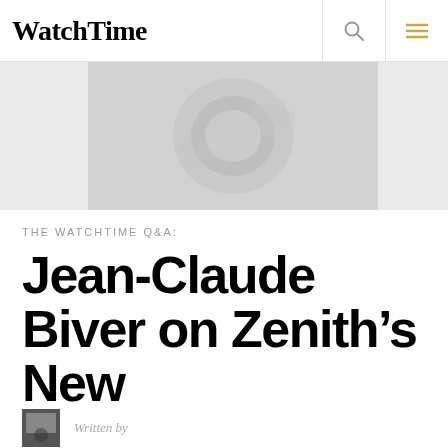WatchTime
[Figure (photo): Blurred/cropped image of a watch mechanism or watch face, rendered in grey tones, serving as a hero banner image]
THE WATCHTIME Q&A:
Jean-Claude Biver on Zenith’s New Chronograph Movement
Written by